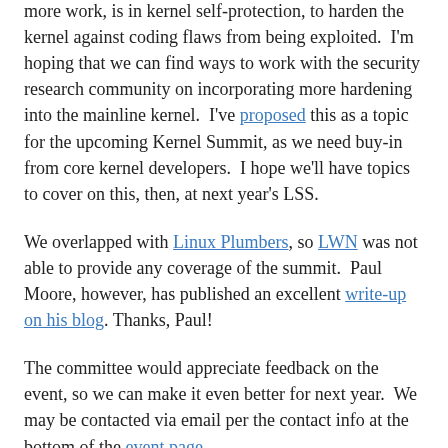One area, though, that I feel we need significantly more work, is in kernel self-protection, to harden the kernel against coding flaws from being exploited.  I'm hoping that we can find ways to work with the security research community on incorporating more hardening into the mainline kernel.  I've proposed this as a topic for the upcoming Kernel Summit, as we need buy-in from core kernel developers.  I hope we'll have topics to cover on this, then, at next year's LSS.
We overlapped with Linux Plumbers, so LWN was not able to provide any coverage of the summit.  Paul Moore, however, has published an excellent write-up on his blog. Thanks, Paul!
The committee would appreciate feedback on the event, so we can make it even better for next year.  We may be contacted via email per the contact info at the bottom of the event page.